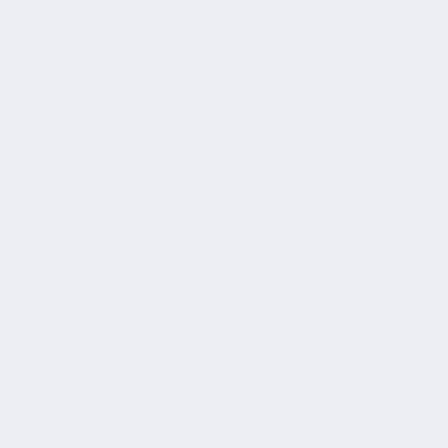// Note the SqlDataAdapter will c...
// when calling it's Fill or Update...
// is already open, the SqlDataA...
Using VB.NET:
Imports System.Data.SqlClient
...
Dim oSQLConn As SqlConnectio...
oSQLConn.ConnectionString = _
"Data Source=(local);" & _
"Initial Catalog=myDatabaseNam...
"Integrated Security=SSPI"
oSQLConn.Open()
If connection to a remote server (via IP addres...